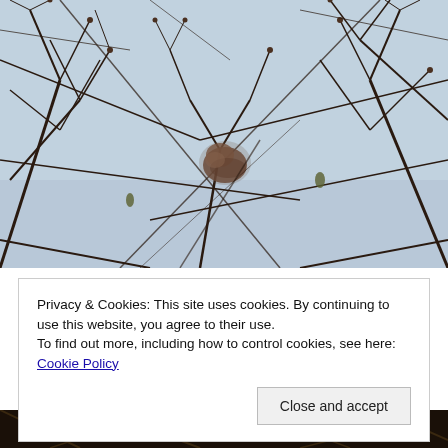[Figure (photo): A small bird perched among bare winter branches against a pale grey-blue sky. The bird is centered, brownish, slightly blurred. Many thin dark twigs and some small buds or seed clusters fill the frame.]
Privacy & Cookies: This site uses cookies. By continuing to use this website, you agree to their use.
To find out more, including how to control cookies, see here: Cookie Policy
[Figure (photo): Bottom strip of a second photo showing similar bare winter branches against a dark background.]